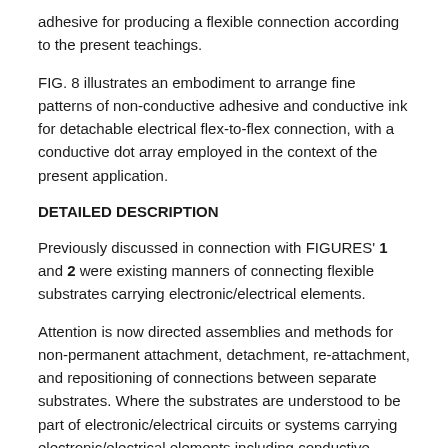adhesive for producing a flexible connection according to the present teachings.
FIG. 8 illustrates an embodiment to arrange fine patterns of non-conductive adhesive and conductive ink for detachable electrical flex-to-flex connection, with a conductive dot array employed in the context of the present application.
DETAILED DESCRIPTION
Previously discussed in connection with FIGURES' 1 and 2 were existing manners of connecting flexible substrates carrying electronic/electrical elements.
Attention is now directed assemblies and methods for non-permanent attachment, detachment, re-attachment, and repositioning of connections between separate substrates. Where the substrates are understood to be part of electronic/electrical circuits or systems carrying electronic/electrical elements including conductive electrodes, contact pads, tabs, among various other elements. The electronic/electrical circuits or systems may comprise any other a number of circuits or system